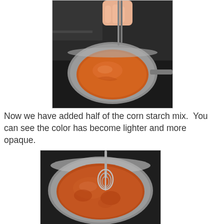[Figure (photo): Photo of a small saucepan on a stove with an orange-brown liquid (corn starch mix) being stirred with fingers/tongs. The liquid appears lighter and more opaque.]
Now we have added half of the corn starch mix.  You can see the color has become lighter and more opaque.
[Figure (photo): Photo of a saucepan viewed from above containing a reddish-brown opaque liquid being stirred with a wire whisk.]